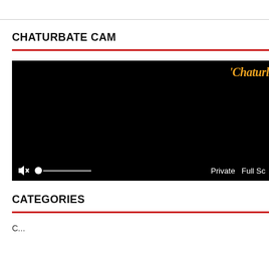CHATURBATE CAM
[Figure (screenshot): Black video player embed with Chaturbate logo watermark in top-right corner and video controls bar at bottom showing mute icon, volume slider, Private and Full Screen buttons.]
CATEGORIES
Categories item (partially visible)